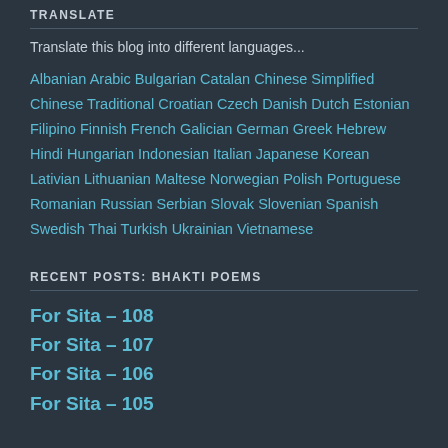TRANSLATE
Translate this blog into different languages...
Albanian Arabic Bulgarian Catalan Chinese Simplified Chinese Traditional Croatian Czech Danish Dutch Estonian Filipino Finnish French Galician German Greek Hebrew Hindi Hungarian Indonesian Italian Japanese Korean Lativian Lithuanian Maltese Norwegian Polish Portuguese Romanian Russian Serbian Slovak Slovenian Spanish Swedish Thai Turkish Ukrainian Vietnamese
RECENT POSTS: BHAKTI POEMS
For Sita – 108
For Sita – 107
For Sita – 106
For Sita – 105